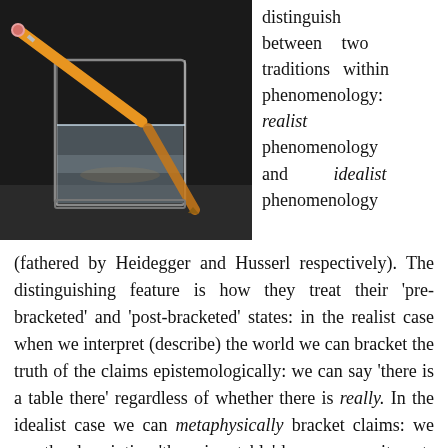[Figure (photo): A photograph of a pencil resting diagonally in a clear glass of water on a dark background, demonstrating optical refraction — the pencil appears bent at the water surface.]
distinguish between two traditions within phenomenology: realist phenomenology and idealist phenomenology (fathered by Heidegger and Husserl respectively). The distinguishing feature is how they treat their 'pre-bracketed' and 'post-bracketed' states: in the realist case when we interpret (describe) the world we can bracket the truth of the claims epistemologically: we can say 'there is a table there' regardless of whether there is really. In the idealist case we can metaphysically bracket claims: we say the description 'there is a table' has no commitments at all about what is real or not, and indeed we can come